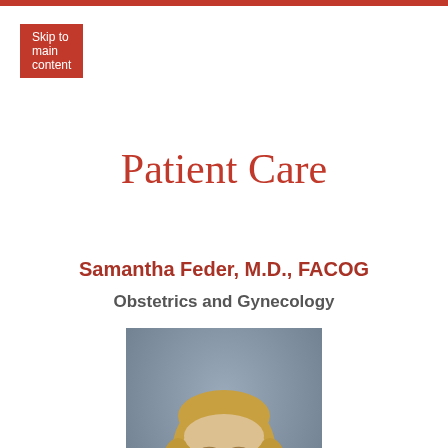Skip to main content
Patient Care
Samantha Feder, M.D., FACOG
Obstetrics and Gynecology
[Figure (photo): Professional headshot photo of Dr. Samantha Feder, a woman with shoulder-length blonde hair, smiling, wearing a light-colored top, against a grey-blue background.]